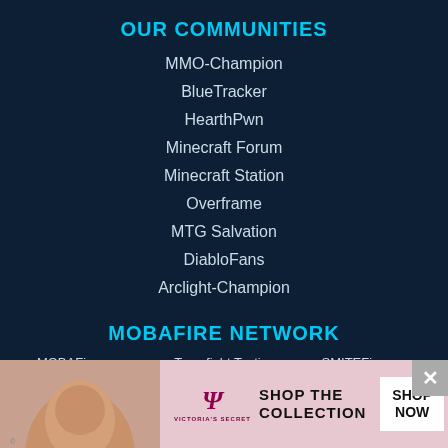OUR COMMUNITIES
MMO-Champion
BlueTracker
HearthPwn
Minecraft Forum
Minecraft Station
Overframe
MTG Salvation
DiabloFans
Arclight-Champion
MOBAFIRE NETWORK
MOBAFire.com
Teamfight Tactics
SMITEFire.com
Leaguespv.gg
WildRiftFire.com
DOTAFire.com
[Figure (advertisement): Victoria's Secret advertisement banner with woman's photo, Psi logo, 'SHOP THE COLLECTION' text, and 'SHOP NOW' button]